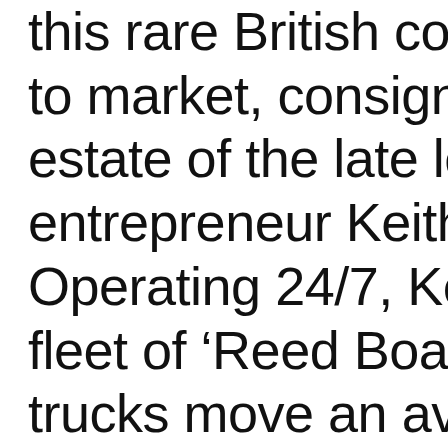this rare British coac to market, consigne estate of the late log entrepreneur Keith M Operating 24/7, Kei fleet of 'Reed Board trucks move an ave pallets a day, opera single 50 acre site in